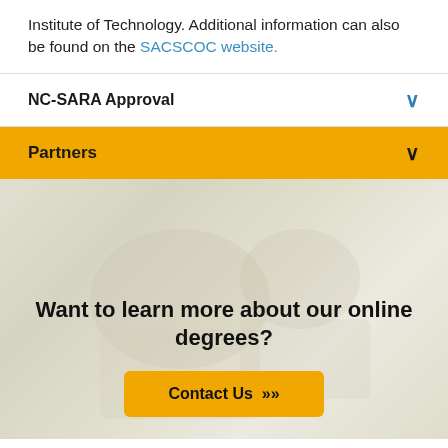Institute of Technology. Additional information can also be found on the SACSCOC website.
NC-SARA Approval
Partners
[Figure (photo): Blurred background photo of a student with a notebook, light beige/cream tones]
Want to learn more about our online degrees?
Contact Us »»